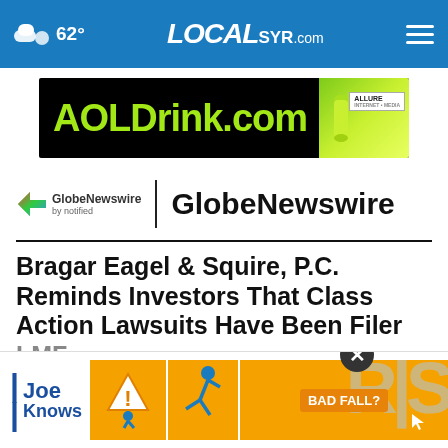LOCAL SYR.com — 62° — localsyr.com
[Figure (screenshot): AOLDrink.com advertisement banner with green bottle and Allure logo on black background]
[Figure (logo): GlobeNewswire by notified logo with arrow icon, followed by large GlobeNewswire text]
Bragar Eagel & Squire, P.C. Reminds Investors That Class Action Lawsuits Have Been Filed LMF...
[Figure (infographic): Ad overlay: Joe Knows with BAD FALL? personal injury advertisement featuring falling person icon]